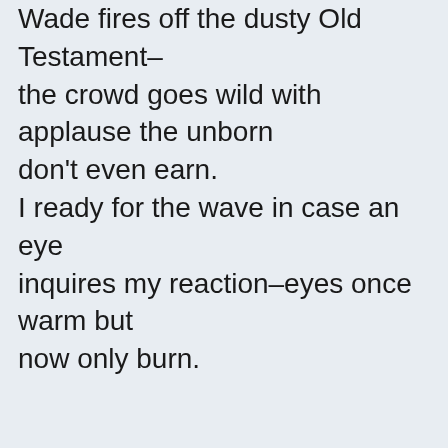Wade fires off the dusty Old Testament–the crowd goes wild with applause the unborn
don't even earn.
I ready for the wave in case an eye inquires my reaction–eyes once warm but
now only burn.

Once deemed a son, brother, future husband–
ruined by a misplaced phone, poached by vultures
starved for secrets.
Now only thought a queer in sheep's clothing